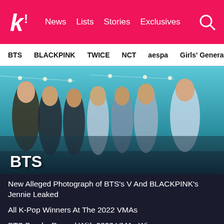K! News Lists Stories Exclusives
BTS  BLACKPINK  TWICE  NCT  aespa  Girls' Generation
[Figure (photo): Group photo of BTS members (7 people) posed together outdoors under a blue sky with string lights, wearing stylish outfits. Text overlay reads 'BTS' in white bold letters at the bottom left.]
New Alleged Photograph of BTS's V And BLACKPINK's Jennie Leaked
All K-Pop Winners At The 2022 VMAs
BTS Breaks Record With 2022 VMAs Win